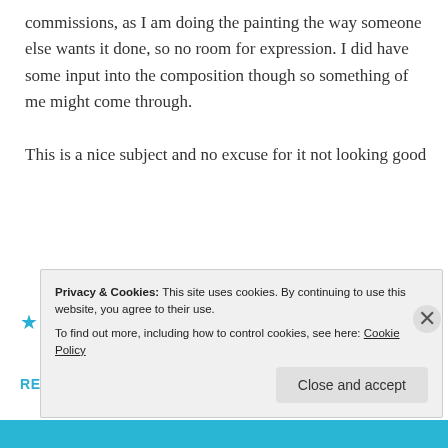commissions, as I am doing the painting the way someone else wants it done, so no room for expression. I did have some input into the composition though so something of me might come through.
This is a nice subject and no excuse for it not looking good
★ Like
REPLY
Privacy & Cookies: This site uses cookies. By continuing to use this website, you agree to their use.
To find out more, including how to control cookies, see here: Cookie Policy
Close and accept